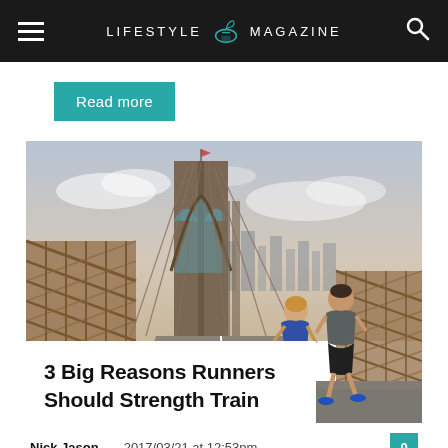LIFESTYLE MAGAZINE
Read more
[Figure (photo): Two runners and a pedestrian on the Brooklyn Bridge walkway, with the bridge's iconic Gothic arches and steel cables visible, city skyline in the background.]
3 Big Reasons Runners Should Strength Train
Nick Jason — 2017/03/21 at 12:53pm
What's possible in a week? If you dedicated seven